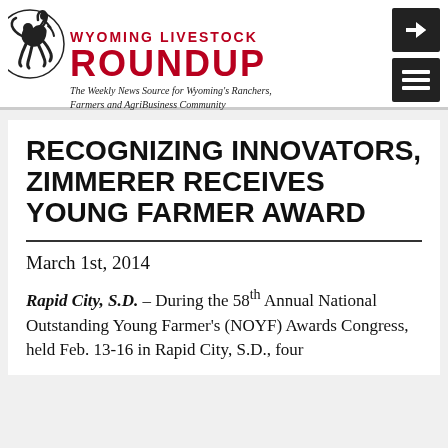Wyoming Livestock Roundup — The Weekly News Source for Wyoming's Ranchers, Farmers and AgriBusiness Community
RECOGNIZING INNOVATORS, ZIMMERER RECEIVES YOUNG FARMER AWARD
March 1st, 2014
Rapid City, S.D. – During the 58th Annual National Outstanding Young Farmer's (NOYF) Awards Congress, held Feb. 13-16 in Rapid City, S.D., four